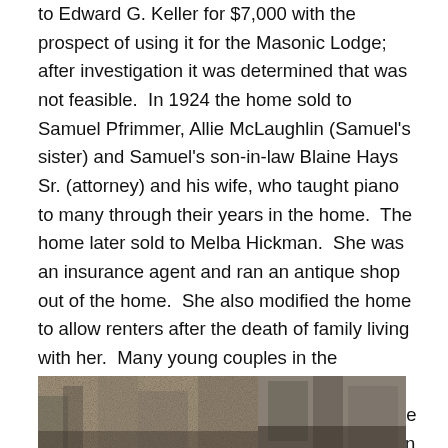to Edward G. Keller for $7,000 with the prospect of using it for the Masonic Lodge; after investigation it was determined that was not feasible.  In 1924 the home sold to Samuel Pfrimmer, Allie McLaughlin (Samuel's sister) and Samuel's son-in-law Blaine Hays Sr. (attorney) and his wife, who taught piano to many through their years in the home.  The home later sold to Melba Hickman.  She was an insurance agent and ran an antique shop out of the home.  She also modified the home to allow renters after the death of family living with her.  Many young couples in the community began their married life living in this home and renting from Melba. In 1976 the home sold to Frederick M. Cromwell (Corydon Democrat Advertising Manager) and his wife Glenda, after the death of Melba Hickman.
[Figure (photo): Two partially visible black and white photographs at the bottom of the page]